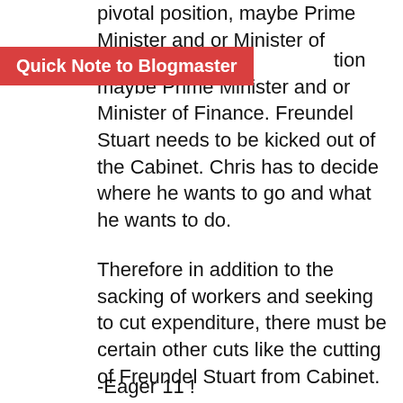pivotal position, maybe Prime Minister and or Minister of Finance. Dr David Estwick needs to be
Quick Note to Blogmaster
tion maybe Prime Minister and or Minister of Finance. Freundel Stuart needs to be kicked out of the Cabinet. Chris has to decide where he wants to go and what he wants to do.
Therefore in addition to the sacking of workers and seeking to cut expenditure, there must be certain other cuts like the cutting of Freundel Stuart from Cabinet.
Freundel Stuart should take full responsibility for the situation Barbados finds itself in at the moment and the lies and misleading statements he made to the country as 'leader'. Freundel Stuart should RESIGN NOW or be kicked out of Cabinet- In North Korea , a man was executed for less
-Eager 11 !
-Barbados Above Else